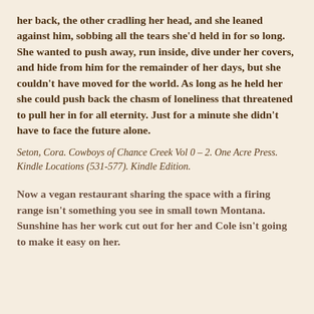her back, the other cradling her head, and she leaned against him, sobbing all the tears she'd held in for so long. She wanted to push away, run inside, dive under her covers, and hide from him for the remainder of her days, but she couldn't have moved for the world. As long as he held her she could push back the chasm of loneliness that threatened to pull her in for all eternity. Just for a minute she didn't have to face the future alone.
Seton, Cora. Cowboys of Chance Creek Vol 0 – 2. One Acre Press. Kindle Locations (531-577). Kindle Edition.
Now a vegan restaurant sharing the space with a firing range isn't something you see in small town Montana. Sunshine has her work cut out for her and Cole isn't going to make it easy on her.